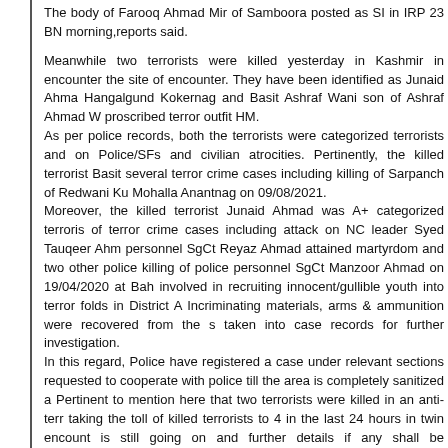The body of Farooq Ahmad Mir of Samboora posted as SI in IRP 23 BN was found this morning,reports said.
Meanwhile two terrorists were killed yesterday in Kashmir in encounter. Arms were recovered at the site of encounter. They have been identified as Junaid Ahmad Mir son of Ahmad Mir of Hangalgund Kokernag and Basit Ashraf Wani son of Ashraf Ahmad Wani of proscribed terror outfit HM. As per police records, both the terrorists were categorized terrorists and were involved in attacks on Police/SFs and civilian atrocities. Pertinently, the killed terrorist Basit Ashraf Wani was involved in several terror crime cases including killing of Sarpanch of Redwani Ku... Mohalla Anantnag on 09/08/2021. Moreover, the killed terrorist Junaid Ahmad was A+ categorized terrorist and was involved in a number of terror crime cases including attack on NC leader Syed Tauqeer Ahm... in which police personnel SgCt Reyaz Ahmad attained martyrdom and two other police personnel were injured, killing of police personnel SgCt Manzoor Ahmad on 19/04/2020 at Bah... He was also involved in recruiting innocent/gullible youth into terror folds in District A... Incriminating materials, arms & ammunition were recovered from the s... and have been taken into case records for further investigation. In this regard, Police have registered a case under relevant sections and general public is requested to cooperate with police till the area is completely sanitized a... Pertinent to mention here that two terrorists were killed in an anti-terr... operation, taking the toll of killed terrorists to 4 in the last 24 hours in twin encount... The operation is still going on and further details if any shall be communicated accordi... Moreover, Awantipora Police alongwith Army (42 RR) and CRPF (18... launched a search operation in general area of Nowdal, Tral. During search, som... incriminating materials were recovered. In this connection, a case under relevant se... has been registered and investigation set into motion.```
...